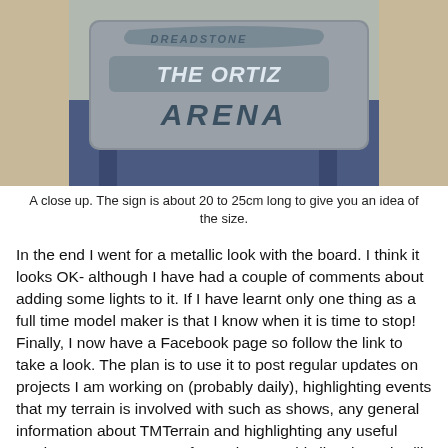[Figure (photo): Close-up photo of a metallic sign reading 'THE ORTIZ ARENA' with a blue metallic finish and 3D lettering, mounted on a blue support structure.]
A close up. The sign is about 20 to 25cm long to give you an idea of the size.
In the end I went for a metallic look with the board. I think it looks OK- although I have had a couple of comments about adding some lights to it. If I have learnt only one thing as a full time model maker is that I know when it is time to stop! Finally, I now have a Facebook page so follow the link to take a look. The plan is to use it to post regular updates on projects I am working on (probably daily), highlighting events that my terrain is involved with such as shows, any general information about TMTerrain and highlighting any useful products I come across. If I can keep to this list I hope it will be seen as a useful page to like.